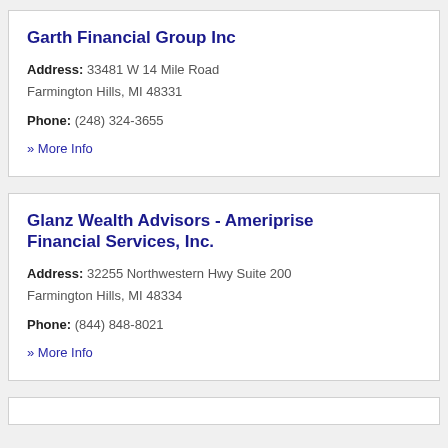Garth Financial Group Inc
Address: 33481 W 14 Mile Road Farmington Hills, MI 48331
Phone: (248) 324-3655
» More Info
Glanz Wealth Advisors - Ameriprise Financial Services, Inc.
Address: 32255 Northwestern Hwy Suite 200 Farmington Hills, MI 48334
Phone: (844) 848-8021
» More Info